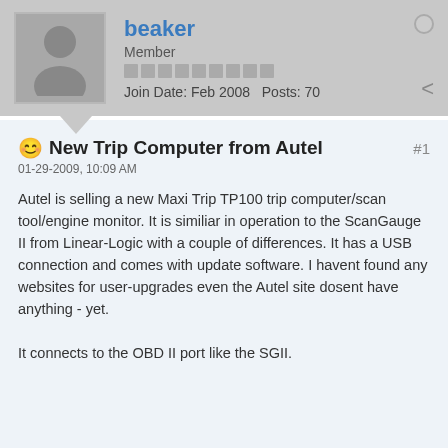[Figure (other): User avatar placeholder silhouette of a person in grey]
beaker
Member
Join Date: Feb 2008  Posts: 70
New Trip Computer from Autel
01-29-2009, 10:09 AM
Autel is selling a new Maxi Trip TP100 trip computer/scan tool/engine monitor. It is similiar in operation to the ScanGauge II from Linear-Logic with a couple of differences. It has a USB connection and comes with update software. I havent found any websites for user-upgrades even the Autel site dosent have anything - yet.

It connects to the OBD II port like the SGII.